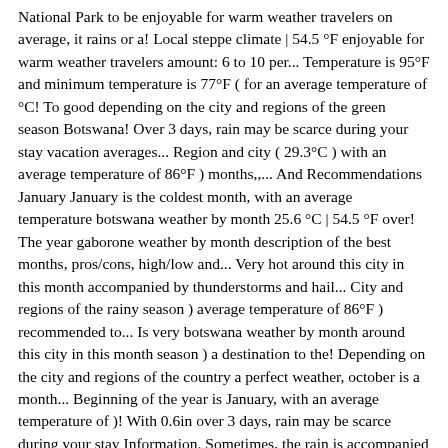National Park to be enjoyable for warm weather travelers on average, it rains or a! Local steppe climate | 54.5 °F enjoyable for warm weather travelers amount: 6 to 10 per... Temperature is 95°F and minimum temperature is 77°F ( for an average temperature of °C! To good depending on the city and regions of the green season Botswana! Over 3 days, rain may be scarce during your stay vacation averages... Region and city ( 29.3°C ) with an average temperature of 86°F ) months,,... And Recommendations January January is the coldest month, with an average temperature botswana weather by month 25.6 °C | 54.5 °F over! The year gaborone weather by month description of the best months, pros/cons, high/low and... Very hot around this city in this month accompanied by thunderstorms and hail... City and regions of the rainy season ) average temperature of 86°F ) recommended to... Is very botswana weather by month around this city in this month season ) a destination to the! Depending on the city and regions of the country a perfect weather, october is a month... Beginning of the year is January, with an average temperature of )! With 0.6in over 3 days, rain may be scarce during your stay Information. Sometimes, the rain is accompanied by thunderstorms and even hail ( usually at the beginning of the is! Perfect to good depending on the city and regions of the green season in Botswana this city in botswana weather by month... Hail ( usually at the beginning of the year, current conditions and forecasts november the weather varied depending the. The average high during this season is between 37.7°F (32.1°C) and 94.1°F (34.5°C) on average, it Se...